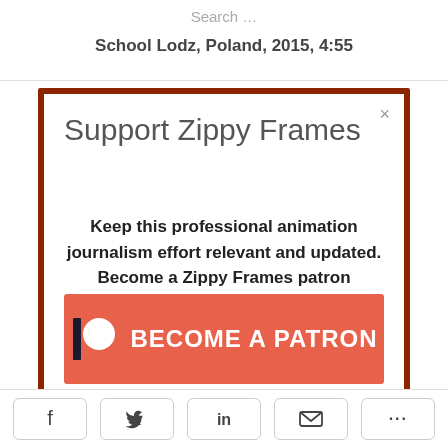Search …
School Lodz, Poland, 2015, 4:55
Support Zippy Frames
Keep this professional animation journalism effort relevant and updated. Become a Zippy Frames patron
[Figure (other): Red/coral button with Patreon logo icon and text BECOME A PATRON]
f  |  (bird/Twitter)  |  in  |  (envelope)  |  ...